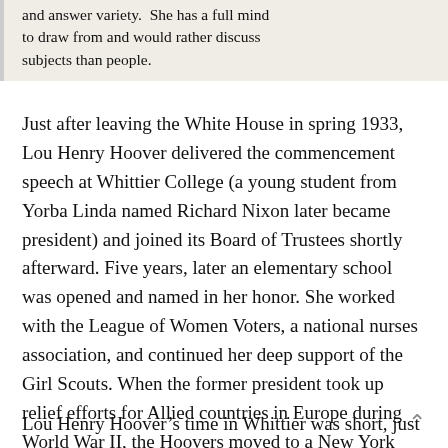and answer variety. She has a full mind to draw from and would rather discuss subjects than people.
Just after leaving the White House in spring 1933, Lou Henry Hoover delivered the commencement speech at Whittier College (a young student from Yorba Linda named Richard Nixon later became president) and joined its Board of Trustees shortly afterward. Five years, later an elementary school was opened and named in her honor. She worked with the League of Women Voters, a national nurses association, and continued her deep support of the Girl Scouts. When the former president took up relief efforts for Allied countries in Europe during World War II, the Hoovers moved to a New York City apartment, where she died suddenly of a heart attack in 1944 at age 69.
Lou Henry Hoover’s time in Whittier was short, just a